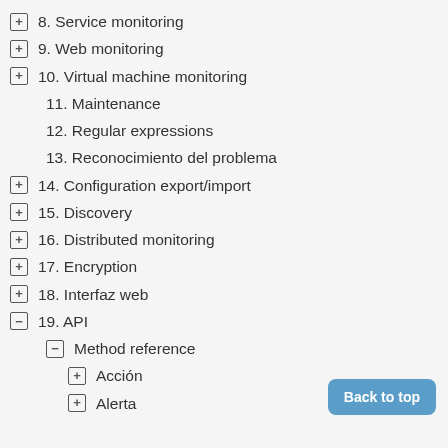8. Service monitoring
9. Web monitoring
10. Virtual machine monitoring
11. Maintenance
12. Regular expressions
13. Reconocimiento del problema
14. Configuration export/import
15. Discovery
16. Distributed monitoring
17. Encryption
18. Interfaz web
19. API
Method reference
Acción
Alerta